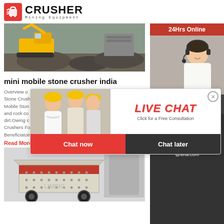[Figure (logo): Crusher Mining Equipment logo with red shopping bag icon and bold CRUSHER text]
[Figure (photo): Mining excavator with gravel mound, outdoor mining site]
mini mobile stone crusher india
Overview of... Stone Crus... Mobile Ston... and rock co... dirt.Owing c... Crushers Fo... Beneficiatoin Crusher News.
Read More
[Figure (photo): Industrial impact crusher machine in factory setting, white/cream colored, with red panel]
[Figure (infographic): Live Chat overlay popup with workers photo, LIVE CHAT title, Chat now and Chat later buttons]
[Figure (infographic): Right sidebar: 24Hrs Online banner, customer service agent with headset, Need questions & suggestion, Chat Now button, Enquiry, limingjlmofen@sina.com]